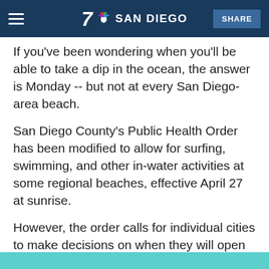NBC 7 San Diego — SHARE
If you've been wondering when you'll be able to take a dip in the ocean, the answer is Monday -- but not at every San Diego-area beach.
San Diego County's Public Health Order has been modified to allow for surfing, swimming, and other in-water activities at some regional beaches, effective April 27 at sunrise.
However, the order calls for individual cities to make decisions on when they will open up their beaches and allow access to the ocean. Cities will also decide hours for openings and set guidelines more strict but not less strict than the county's guidelines.